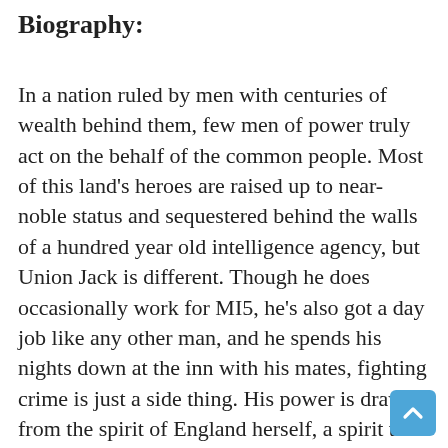Biography:
In a nation ruled by men with centuries of wealth behind them, few men of power truly act on the behalf of the common people. Most of this land's heroes are raised up to near-noble status and sequestered behind the walls of a hundred year old intelligence agency, but Union Jack is different. Though he does occasionally work for MI5, he's also got a day job like any other man, and he spends his nights down at the inn with his mates, fighting crime is just a side thing. His power is drawn from the spirit of England herself, a spirit that has always been closer to the commons who work her lands than to the nobles that rule her.